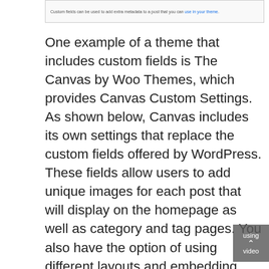[Figure (screenshot): A UI panel showing text: 'Custom fields can be used to add extra metadata to a post that you can use in your theme.' with a hyperlink on 'use in your theme'.]
One example of a theme that includes custom fields is The Canvas by Woo Themes, which provides Canvas Custom Settings. As shown below, Canvas includes its own settings that replace the custom fields offered by WordPress. These fields allow users to add unique images for each post that will display on the homepage as well as category and tag pages. You also have the option of using different layouts and embedding video into posts through custom fields.